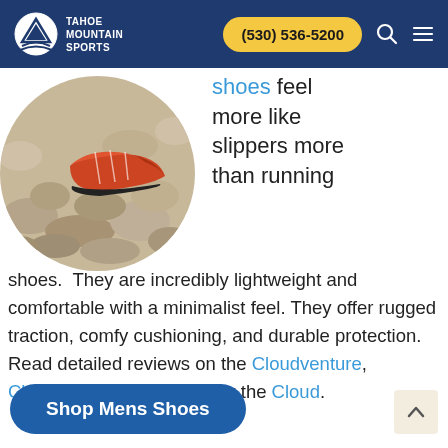Tahoe Mountain Sports — (530) 536-5200
[Figure (photo): Circular cropped photo of trail running shoes on rocky terrain, showing red and orange shoe on stones]
Shoes feel more like slippers more than running shoes.  They are incredibly lightweight and comfortable with a minimalist feel. They offer rugged traction, comfy cushioning, and durable protection. Read detailed reviews on the Cloudventure, Cloudventure Waterproof or the Cloud.
Shop Mens Shoes